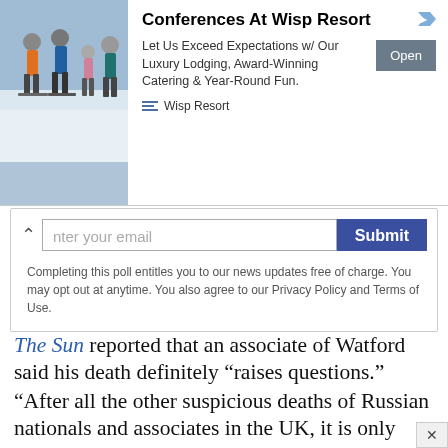[Figure (photo): Advertisement banner for Wisp Resort showing skiers/snowboarders on a snowy mountain]
Conferences At Wisp Resort
Let Us Exceed Expectations w/ Our Luxury Lodging, Award-Winning Catering & Year-Round Fun.
Open
Wisp Resort
nter your email  Submit
Completing this poll entitles you to our news updates free of charge. You may opt out at anytime. You also agree to our Privacy Policy and Terms of Use.
The Sun reported that an associate of Watford said his death definitely “raises questions.”
“After all the other suspicious deaths of Russian nationals and associates in the UK, it is only natural there will be speculation about his death,” The Sun reported, citing the associate whom was not identified.